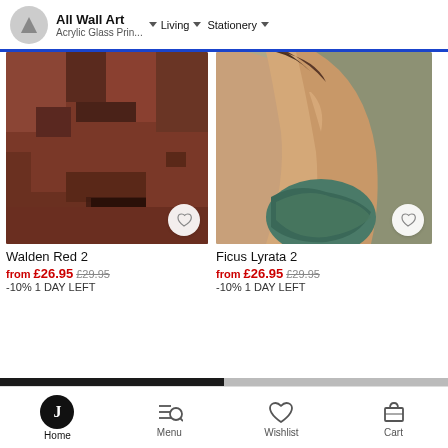All Wall Art · Acrylic Glass Prin... · Living · Stationery
[Figure (photo): Photo of red/terracotta brutalist architecture building - Walden Red 2]
[Figure (photo): Photo of person's back/shoulder with teal fabric - Ficus Lyrata 2]
Walden Red 2
from £26.95 £29.95 -10% 1 DAY LEFT
Ficus Lyrata 2
from £26.95 £29.95 -10% 1 DAY LEFT
[Figure (photo): Partially visible dark photo thumbnail at bottom left]
[Figure (photo): Partially visible light photo thumbnail at bottom right]
Home · Menu · Wishlist · Cart